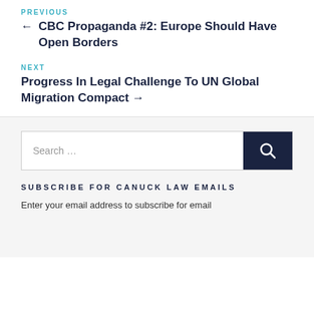PREVIOUS
← CBC Propaganda #2: Europe Should Have Open Borders
NEXT
Progress In Legal Challenge To UN Global Migration Compact →
Search …
SUBSCRIBE FOR CANUCK LAW EMAILS
Enter your email address to subscribe for email